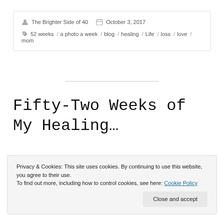The Brighter Side of 40   October 3, 2017
52 weeks / a photo a week / blog / healing / Life / loss / love / mom
Fifty-Two Weeks of My Healing…
Privacy & Cookies: This site uses cookies. By continuing to use this website, you agree to their use. To find out more, including how to control cookies, see here: Cookie Policy
Close and accept